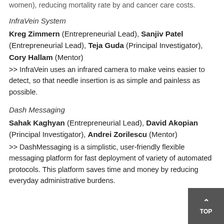women), reducing mortality rate by and cancer care costs.
InfraVein System
Kreg Zimmern (Entrepreneurial Lead), Sanjiv Patel (Entrepreneurial Lead), Teja Guda (Principal Investigator), Cory Hallam (Mentor)
>> InfraVein uses an infrared camera to make veins easier to detect, so that needle insertion is as simple and painless as possible.
Dash Messaging
Sahak Kaghyan (Entrepreneurial Lead), David Akopian (Principal Investigator), Andrei Zorilescu (Mentor)
>> DashMessaging is a simplistic, user-friendly flexible messaging platform for fast deployment of variety of automated protocols. This platform saves time and money by reducing everyday administrative burdens.